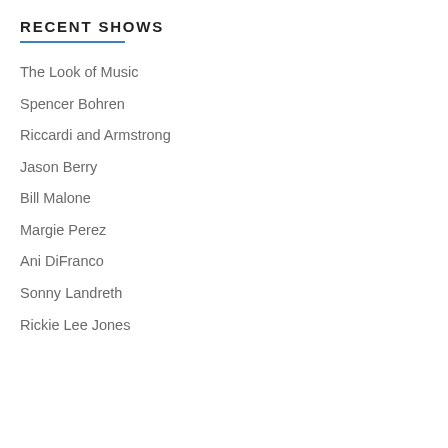RECENT SHOWS
The Look of Music
Spencer Bohren
Riccardi and Armstrong
Jason Berry
Bill Malone
Margie Perez
Ani DiFranco
Sonny Landreth
Rickie Lee Jones